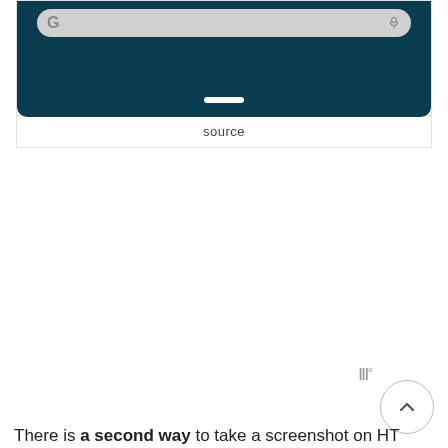[Figure (screenshot): Bottom portion of a smartphone screen showing a dark teal navigation bar with a rounded gray search bar (Google G icon on left, mic icon on right) and a white home pill indicator at the bottom.]
source
There is a second way to take a screenshot on HT